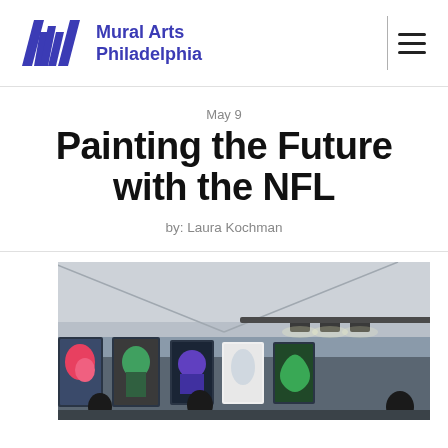Mural Arts Philadelphia
May 9
Painting the Future with the NFL
by: Laura Kochman
[Figure (photo): Interior of a tent or pavilion with artwork panels/displays illuminated along the walls, people silhouetted in the foreground, spotlights on the ceiling.]